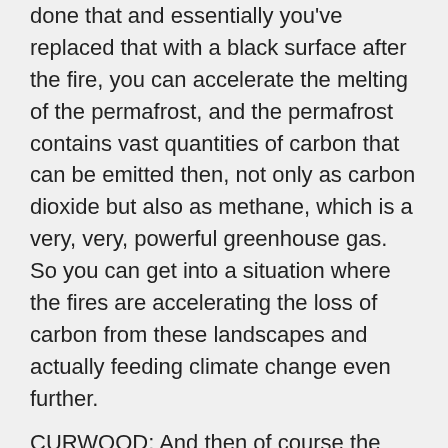done that and essentially you've replaced that with a black surface after the fire, you can accelerate the melting of the permafrost, and the permafrost contains vast quantities of carbon that can be emitted then, not only as carbon dioxide but also as methane, which is a very, very, powerful greenhouse gas. So you can get into a situation where the fires are accelerating the loss of carbon from these landscapes and actually feeding climate change even further.
CURWOOD: And then of course the warmer it gets in the Arctic the more likelihood you have fires. It's a vicious circle.
SUNDT: Exactly. And another issue that's quite concerning is that these fires release a lot of what's called black or brown carbon. They're basically fine